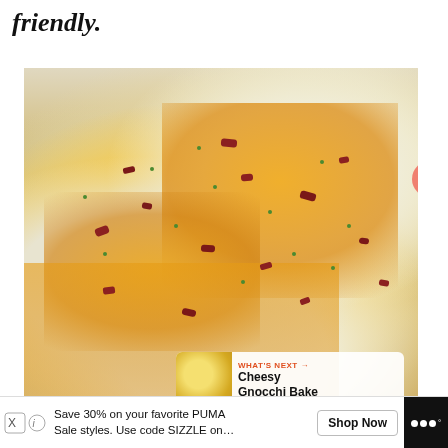friendly.
[Figure (photo): Close-up photo of loaded mashed potatoes topped with melted cheddar cheese, crumbled bacon, and chopped chives on a white plate]
284
WHAT'S NEXT → Cheesy Gnocchi Bake
Save 30% on your favorite PUMA Sale styles. Use code SIZZLE on... Shop Now